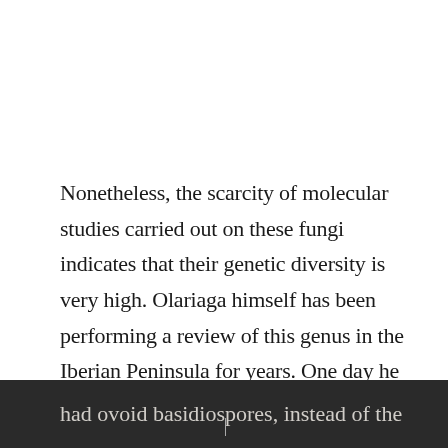Nonetheless, the scarcity of molecular studies carried out on these fungi indicates that their genetic diversity is very high. Olariaga himself has been performing a review of this genus in the Iberian Peninsula for years. One day he discovered that there were two new mushroom species that were distinguishable from the rest because of their specific ecology and the fact that they had ovoid basidiospores, instead of the